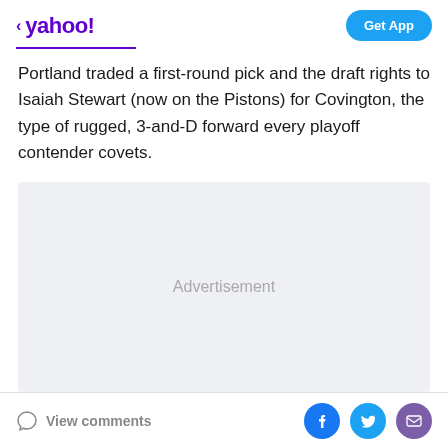< yahoo! | Get App
Portland traded a first-round pick and the draft rights to Isaiah Stewart (now on the Pistons) for Covington, the type of rugged, 3-and-D forward every playoff contender covets.
[Figure (other): Advertisement placeholder box with light gray background]
View comments | Facebook share | Twitter share | Email share